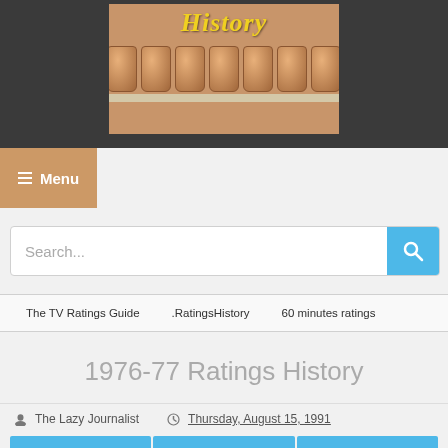[Figure (screenshot): Website header image showing books/jars on a shelf with the word 'History' in yellow italic text, on a dark grey background]
≡ Menu
Search...
The TV Ratings Guide | .RatingsHistory | 60 minutes ratings
1976-77 Ratings History
The Lazy Journalist   Thursday, August 15, 1991